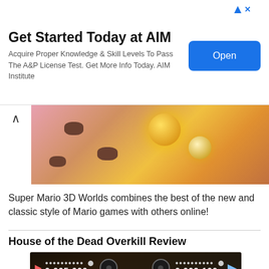[Figure (screenshot): Advertisement banner for AIM Institute with title 'Get Started Today at AIM', subtitle about A&P License Test, and an Open button]
Get Started Today at AIM
Acquire Proper Knowledge & Skill Levels To Pass The A&P License Test. Get More Info Today. AIM Institute
[Figure (screenshot): Screenshot from Super Mario 3D World showing colorful game image with pink background and yellow glowing orbs]
Super Mario 3D Worlds combines the best of the new and classic style of Mario games with others online!
House of the Dead Overkill Review
[Figure (screenshot): Screenshot from House of the Dead Overkill showing a zombie in a rundown building with HUD scores 0,005,000 and 0,009,100]